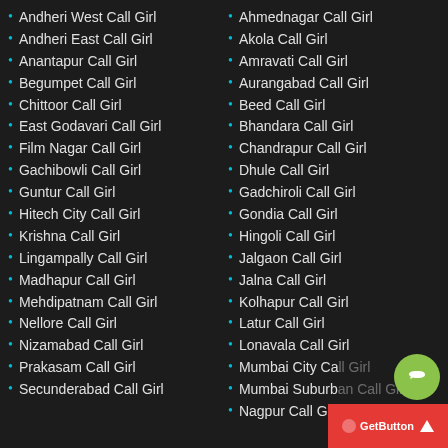Andheri West Call Girl
Andheri East Call Girl
Anantapur Call Girl
Begumpet Call Girl
Chittoor Call Girl
East Godavari Call Girl
Film Nagar Call Girl
Gachibowli Call Girl
Guntur Call Girl
Hitech City Call Girl
Krishna Call Girl
Lingampally Call Girl
Madhapur Call Girl
Mehdipatnam Call Girl
Nellore Call Girl
Nizamabad Call Girl
Prakasam Call Girl
Secunderabad Call Girl
Ahmednagar Call Girl
Akola Call Girl
Amravati Call Girl
Aurangabad Call Girl
Beed Call Girl
Bhandara Call Girl
Chandrapur Call Girl
Dhule Call Girl
Gadchiroli Call Girl
Gondia Call Girl
Hingoli Call Girl
Jalgaon Call Girl
Jalna Call Girl
Kolhapur Call Girl
Latur Call Girl
Lonavala Call Girl
Mumbai City Call Girl
Mumbai Suburban Call Girl
Nagpur Call Girl